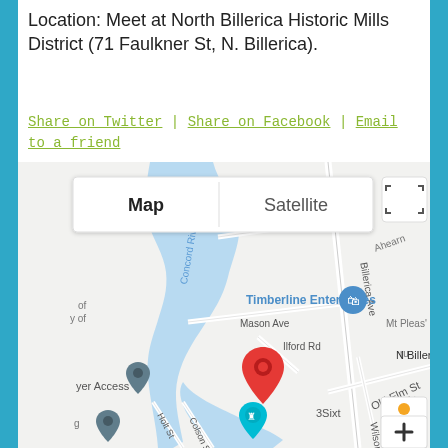Location: Meet at North Billerica Historic Mills District (71 Faulkner St, N. Billerica).
Share on Twitter | Share on Facebook | Email to a friend
[Figure (map): Google Maps screenshot showing North Billerica area with map/satellite toggle, Concord River, streets including Alice Ave, Mason Ave, Ilford Rd, Old Elm St, Wilson St, Rogers St, Billerica Ave, Colson St, Holt St. Shows location markers for Timberline Enterprises, N Billerica train station, and a red pin at the meeting location. Also shows 'uth East Power', 'yer Access', '3Sixt' labels and a Street View pegman icon.]